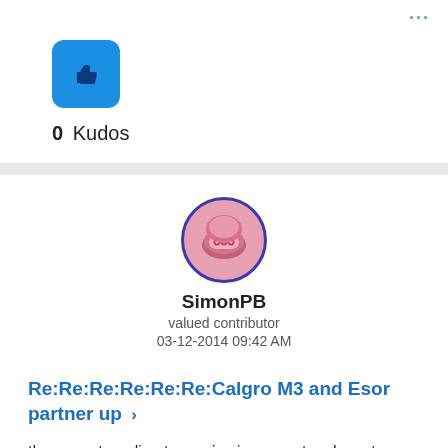[Figure (other): Blue thumbs-up like button icon]
0 Kudos
[Figure (other): User avatar: circular profile image with pink helmet/character design, dark blue border]
SimonPB
valued contributor
03-12-2014 09:42 AM
Re:Re:Re:Re:Re:Re:Calgro M3 and Esor partner up ›
they are struggling to survive in a very tough sector .. maybe they will, maybe they won't .. for me I dislike the sector and